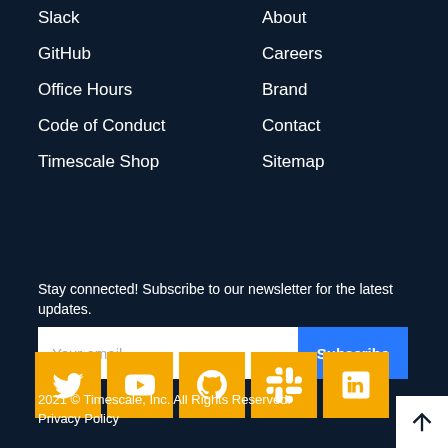Slack
About
GitHub
Careers
Office Hours
Brand
Code of Conduct
Contact
Timescale Shop
Sitemap
Stay connected! Subscribe to our newsletter for the latest updates.
[Figure (infographic): Email subscription form with 'Your email' placeholder input field and a blue 'Subscribe' button]
[Figure (infographic): Row of 5 social media icons (Twitter, YouTube, GitHub, Slack, LinkedIn) on orange/yellow square backgrounds]
2021 © Timescale, Inc. All Rights Reserved.
Privacy Policy